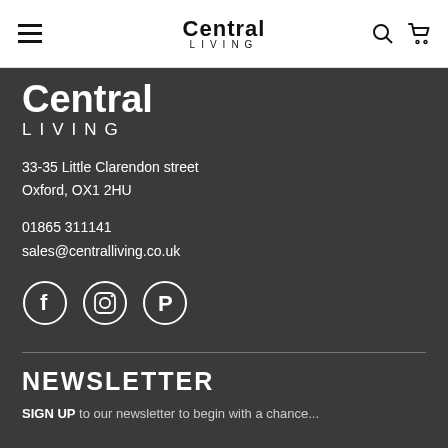Central LIVING — navigation bar with hamburger menu, logo, search and cart icons
[Figure (logo): Central Living logo partially cut off, white text on dark background — large bold 'Central' with 'LIVING' in spaced capitals below]
33-35 Little Clarendon street
Oxford, OX1 2HU
01865 311141
sales@centralliving.co.uk
[Figure (other): Three circular social media icons: Facebook, Instagram, Pinterest]
NEWSLETTER
SIGN UP to our newsletter to begin with a chance...